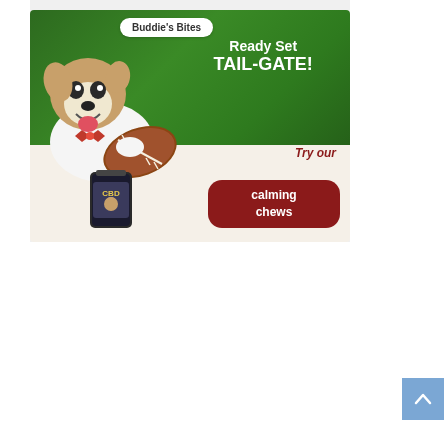[Figure (illustration): Buddie's Bites advertisement banner. Green grass background with a happy dog holding a football. Text reads 'Ready Set TAIL-GATE!' in white. Bottom cream section shows a CBD calming chews product bag and a dark red rounded button reading 'Try our calming chews'.]